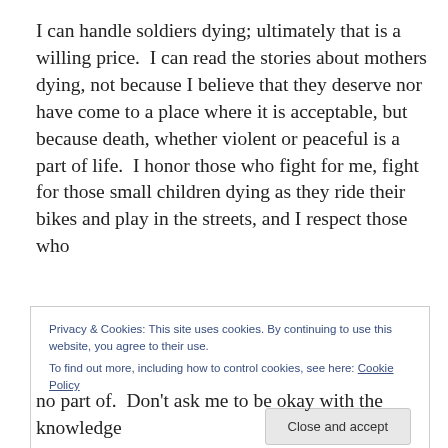I can handle soldiers dying; ultimately that is a willing price.  I can read the stories about mothers dying, not because I believe that they deserve nor have come to a place where it is acceptable, but because death, whether violent or peaceful is a part of life.  I honor those who fight for me, fight for those small children dying as they ride their bikes and play in the streets, and I respect those who
Privacy & Cookies: This site uses cookies. By continuing to use this website, you agree to their use.
To find out more, including how to control cookies, see here: Cookie Policy
Close and accept
no part of.  Don't ask me to be okay with the knowledge